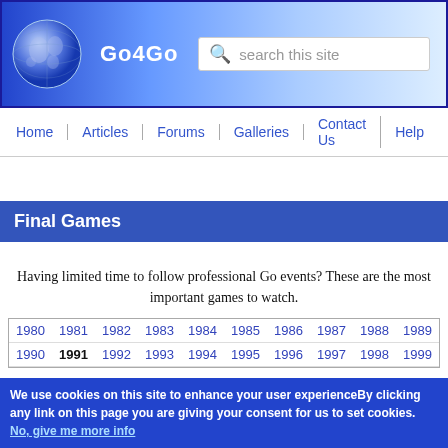Go4Go — search this site
Home | Articles | Forums | Galleries | Contact Us | Help
Final Games
Having limited time to follow professional Go events? These are the most important games to watch.
| 1980 | 1981 | 1982 | 1983 | 1984 | 1985 | 1986 | 1987 | 1988 | 1989 |
| --- | --- | --- | --- | --- | --- | --- | --- | --- | --- |
| 1990 | 1991 | 1992 | 1993 | 1994 | 1995 | 1996 | 1997 | 1998 | 1999 |
We use cookies on this site to enhance your user experienceBy clicking any link on this page you are giving your consent for us to set cookies. No, give me more info